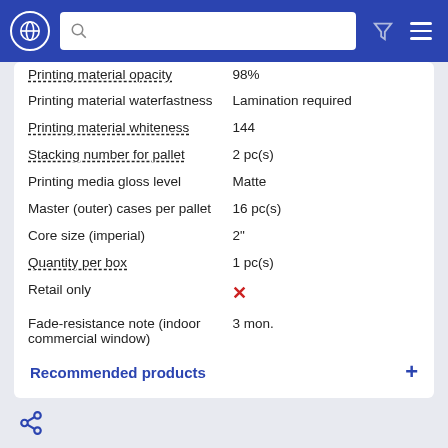| Property | Value |
| --- | --- |
| Printing material opacity | 98% |
| Printing material waterfastness | Lamination required |
| Printing material whiteness | 144 |
| Stacking number for pallet | 2 pc(s) |
| Printing media gloss level | Matte |
| Master (outer) cases per pallet | 16 pc(s) |
| Core size (imperial) | 2" |
| Quantity per box | 1 pc(s) |
| Retail only | ✗ |
| Fade-resistance note (indoor commercial window) | 3 mon. |
Recommended products